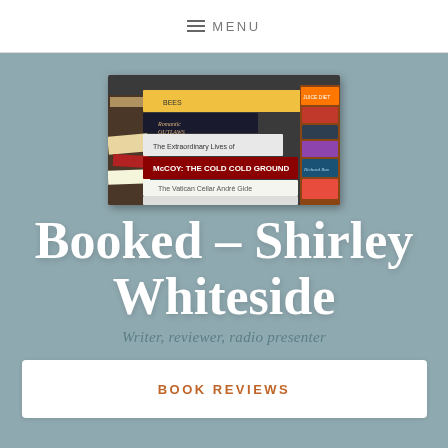≡ MENU
[Figure (photo): A pile of books with various spines visible including 'The Cold Cold Ground', 'The Vatican Cellar', 'Romantic Outlaws', and others in a stacked/piled arrangement]
Booked – Shirley Whiteside
Writer, reviewer, radio presenter
BOOK REVIEWS